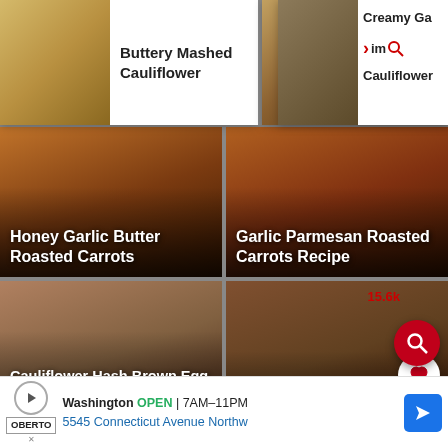[Figure (screenshot): Mobile app screenshot showing a food recipe browsing interface with multiple recipe cards, a top dropdown showing Buttery Mashed Cauliflower, Cauliflower Soup, and Creamy Ga... Shrimp Cauliflower, grid cards for Honey Garlic Butter Roasted Carrots, Garlic Parmesan Roasted Carrots Recipe, Cauliflower Hash Brown Egg Cups (Low Carb + Gluten Free), Slow Cooker Pot Roas..., partially visible bottom cards including Cheesy Garlic Roasted, and a bottom ad banner for Oberto in Washington OPEN 7AM-11PM at 5545 Connecticut Avenue Northw with a search FAB button.]